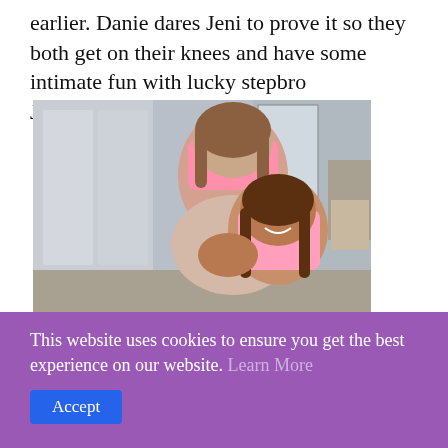earlier. Danie dares Jeni to prove it so they both get on their knees and have some intimate fun with lucky stepbro Johnny!Enjoy threesome!
[Figure (photo): Video player thumbnail showing two young women in a bedroom, with video playback controls at the bottom including a play button, timestamp showing 0:00, progress bar, volume icon, and options dots.]
This website uses cookies to ensure you get the best experience on our website. Learn More
Accept